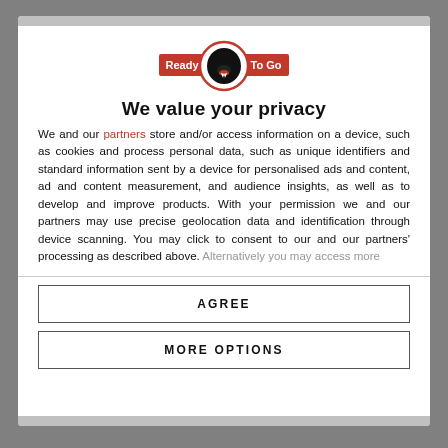[Figure (logo): Ready To Go logo with panther head in a red circle, flanked by 'Ready' on the left and 'To Go' on the right in red rectangles]
We value your privacy
We and our partners store and/or access information on a device, such as cookies and process personal data, such as unique identifiers and standard information sent by a device for personalised ads and content, ad and content measurement, and audience insights, as well as to develop and improve products. With your permission we and our partners may use precise geolocation data and identification through device scanning. You may click to consent to our and our partners' processing as described above. Alternatively you may access more
AGREE
MORE OPTIONS